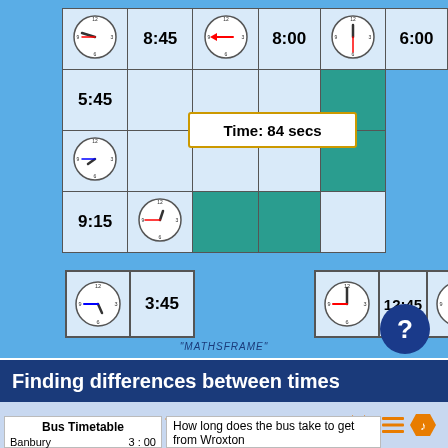[Figure (screenshot): Interactive clock matching game with analog clocks and digital times on a blue board. Shows a timer of 84 secs. Contains domino-style pieces with clocks showing 3:45, 12:45, 12:30. A question mark button is visible. MATHSFRAME watermark at bottom.]
[Figure (logo): HTML5 orange badge icon]
Finding differences between times
Timetables
| Bus Timetable |
| --- |
| Banbury | 3:00 |
How long does the bus take to get from Wroxton